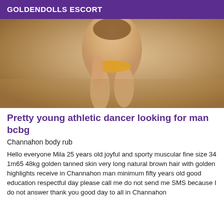GOLDENDOLLS ESCORT
[Figure (photo): Photo of a young woman in a bikini on a sandy beach, bending forward, showing tanned skin and long legs.]
Pretty young athletic dancer looking for man bcbg
Channahon body rub
Hello everyone Mila 25 years old joyful and sporty muscular fine size 34 1m65 48kg golden tanned skin very long natural brown hair with golden highlights receive in Channahon man minimum fifty years old good education respectful day please call me do not send me SMS because I do not answer thank you good day to all in Channahon